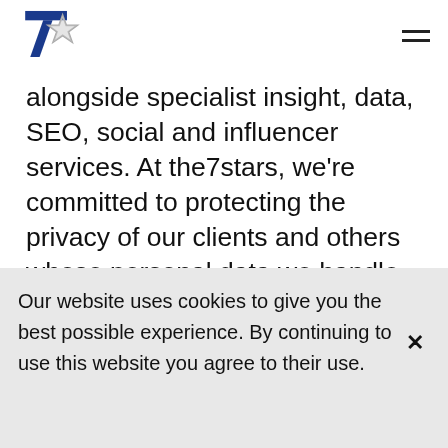the7stars logo and hamburger menu
alongside specialist insight, data, SEO, social and influencer services. At the7stars, we're committed to protecting the privacy of our clients and others whose personal data we handle. We want to provide a safe and secure service where we deal
Our website uses cookies to give you the best possible experience. By continuing to use this website you agree to their use.